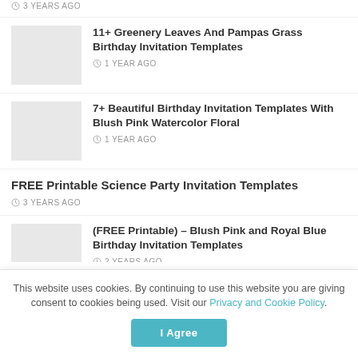3 YEARS AGO
11+ Greenery Leaves And Pampas Grass Birthday Invitation Templates · 1 YEAR AGO
7+ Beautiful Birthday Invitation Templates With Blush Pink Watercolor Floral · 1 YEAR AGO
FREE Printable Science Party Invitation Templates · 3 YEARS AGO
(FREE Printable) – Blush Pink and Royal Blue Birthday Invitation Templates · 2 YEARS AGO
This website uses cookies. By continuing to use this website you are giving consent to cookies being used. Visit our Privacy and Cookie Policy.